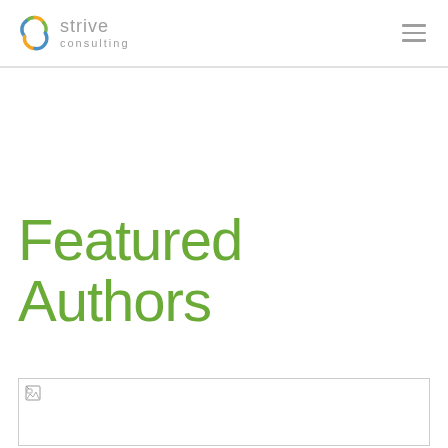strive consulting
Featured Authors
[Figure (photo): Image placeholder with broken image icon at bottom of page]